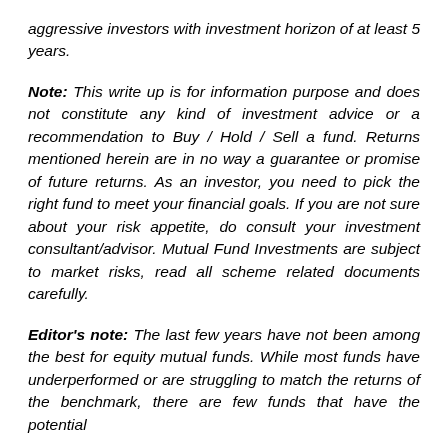aggressive investors with investment horizon of at least 5 years.
Note: This write up is for information purpose and does not constitute any kind of investment advice or a recommendation to Buy / Hold / Sell a fund. Returns mentioned herein are in no way a guarantee or promise of future returns. As an investor, you need to pick the right fund to meet your financial goals. If you are not sure about your risk appetite, do consult your investment consultant/advisor. Mutual Fund Investments are subject to market risks, read all scheme related documents carefully.
Editor's note: The last few years have not been among the best for equity mutual funds. While most funds have underperformed or are struggling to match the returns of the benchmark, there are few funds that have the potential